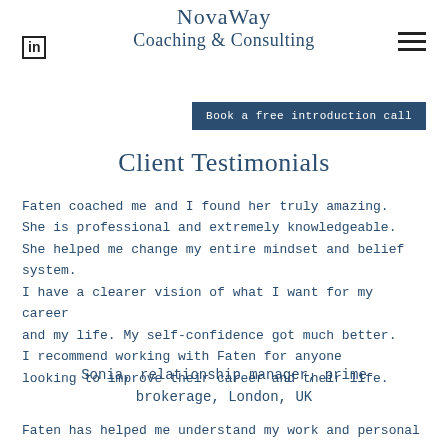NovaWay Coaching & Consulting
Book a free introduction call
Client Testimonials
Faten coached me and I found her truly amazing. She is professional and extremely knowledgeable. She helped me change my entire mindset and belief system. I have a clearer vision of what I want for my career and my life. My self-confidence got much better. I recommend working with Faten for anyone looking to improve their career and their life.
Sonia, relationship manager, prime brokerage, London, UK
Faten has helped me understand my work and personal